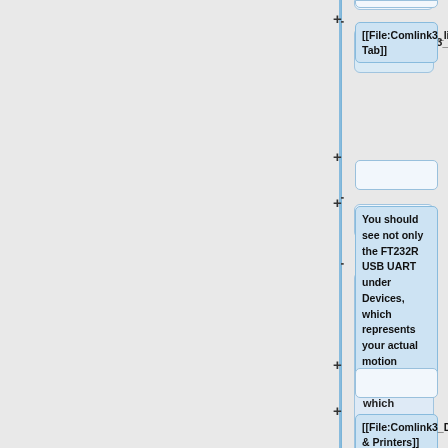[[File:Comlink3_listUSB.png|300px|COM Tab]]
You should see not only the FT232R USB UART under Devices, which represents your actual motion controller:
[[File:Comlink3_DevsUART.png|300px|Devices & Printers]]